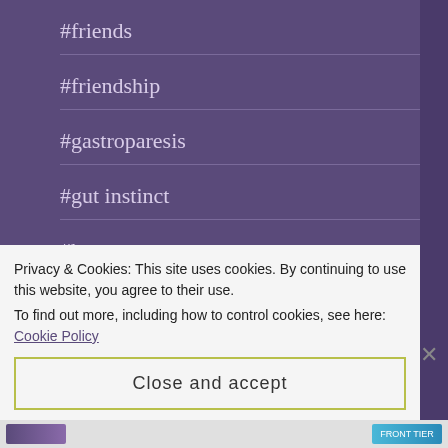#friends
#friendship
#gastroparesis
#gut instinct
#hope
#humor
#illness
Privacy & Cookies: This site uses cookies. By continuing to use this website, you agree to their use.
To find out more, including how to control cookies, see here: Cookie Policy
Close and accept